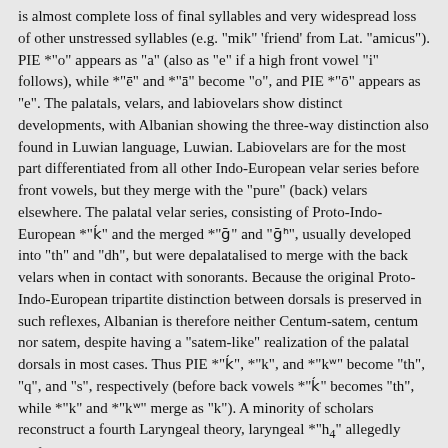is almost complete loss of final syllables and very widespread loss of other unstressed syllables (e.g. "mik" 'friend' from Lat. "amicus"). PIE *"o" appears as "a" (also as "e" if a high front vowel "i" follows), while *"ē" and *"ā" become "o", and PIE *"ō" appears as "e". The palatals, velars, and labiovelars show distinct developments, with Albanian showing the three-way distinction also found in Luwian language, Luwian. Labiovelars are for the most part differentiated from all other Indo-European velar series before front vowels, but they merge with the "pure" (back) velars elsewhere. The palatal velar series, consisting of Proto-Indo-European *"k̂" and the merged *"ǵ" and "ǵʰ", usually developed into "th" and "dh", but were depalatalised to merge with the back velars when in contact with sonorants. Because the original Proto-Indo-European tripartite distinction between dorsals is preserved in such reflexes, Albanian is therefore neither Centum-satem, centum nor satem, despite having a "satem-like" realization of the palatal dorsals in most cases. Thus PIE *"k̂", *"k", and *"kʷ" become "th", "q", and "s", respectively (before back vowels *"k̂" becomes "th", while *"k" and *"kʷ" merge as "k"). A minority of scholars reconstruct a fourth Laryngeal theory, laryngeal *"h₄" allegedly surfacing as Alb. "h" word-initially, e.g.